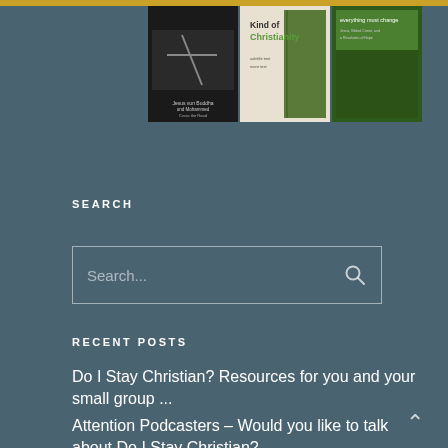[Figure (photo): Three book covers displayed side by side: a dark cover mentioning Buddha and Mohammed, a light-colored cover reading 'Kind of Christianity', and a green cover reading 'everything must change']
SEARCH
[Figure (screenshot): Search input box with placeholder text 'Search...' and a magnifying glass icon on the right]
RECENT POSTS
Do I Stay Christian? Resources for you and your small group ...
Attention Podcasters – Would you like to talk about Do I Stay Christian?
If you're a pastor, ministry leader, or other compassionate human feeling weary, worn out, or on the edge